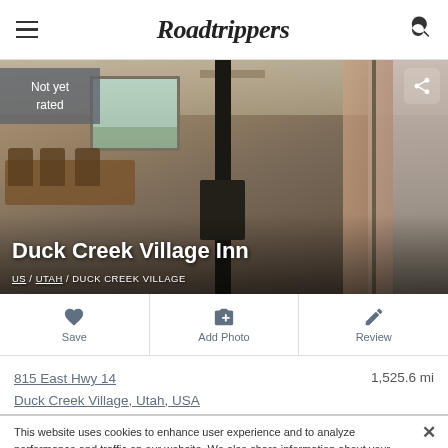Roadtrippers
[Figure (photo): Interior photo of Duck Creek Village Inn showing a dining area with wooden chairs and table, a window with curtains, a dark wood-burning stove/pillar, and a right-side room with pink/mauve curtains. Overlaid with 'Not yet rated' badge top-left and share icon top-right.]
Duck Creek Village Inn
US / UTAH / DUCK CREEK VILLAGE
Save | Add Photo | Review
815 East Hwy 14
Duck Creek Village, Utah, USA
1,525.6 mi
This website uses cookies to enhance user experience and to analyze performance and traffic on our website. We also share information about your use of our site with our social media and analytics partners. Roadtrippers